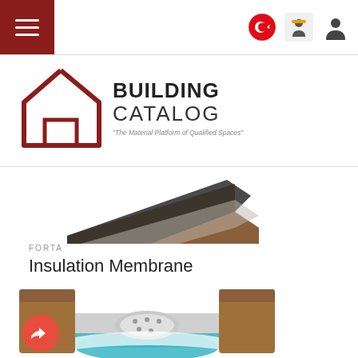Building Catalog - The Material Platform of Qualified Spaces
[Figure (logo): Building Catalog logo with house outline icon in dark red and bold text 'BUILDING CATALOG' with tagline 'The Material Platform of Qualified Spaces']
[Figure (illustration): 3D rendering of an insulation membrane panel showing layered construction material with dark top surface and brown frame edges, partially cropped at top]
FORTA
Insulation Membrane
[Figure (illustration): 3D rendering of an insulation membrane drainage system showing brown porous blocks with a perforated pipe and teal/blue membrane layer inside a channel cross-section]